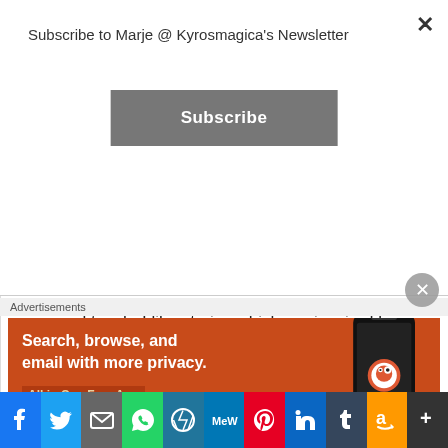Subscribe to Marje @ Kyrosmagica's Newsletter
Subscribe
personal touch. I like stories which are inspired by actual places, etc.
Overall, this is a nice uncomplicated story of ancestral lives and family secrets, focusing on a haunted house, Roseby Hall, with the threat of ghostly menace portrayed without being frightening, or disturbing to the reader.
Advertisements
[Figure (screenshot): DuckDuckGo advertisement banner: orange background with white bold text 'Search, browse, and email with more privacy.' and 'All in One Free App' subtext, with a phone mockup and DuckDuckGo logo on the right.]
[Figure (infographic): Social media sharing bar with icons: Facebook, Twitter, Email, WhatsApp, WordPress, MeWe, Pinterest, LinkedIn, Tumblr, Amazon, More]